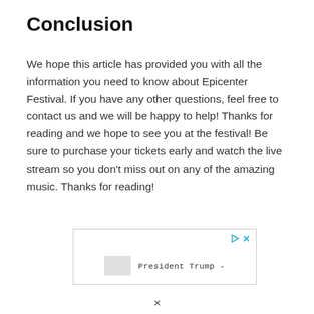Conclusion
We hope this article has provided you with all the information you need to know about Epicenter Festival. If you have any other questions, feel free to contact us and we will be happy to help! Thanks for reading and we hope to see you at the festival! Be sure to purchase your tickets early and watch the live stream so you don’t miss out on any of the amazing music. Thanks for reading!
[Figure (other): Advertisement box with play and close icons and text reading 'President Trump -']